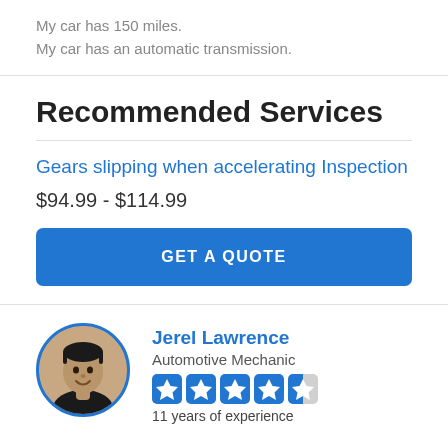My car has 150 miles.
My car has an automatic transmission.
Recommended Services
Gears slipping when accelerating Inspection
$94.99 - $114.99
GET A QUOTE
[Figure (photo): Circular profile photo of Jerel Lawrence, an automotive mechanic, smiling, wearing a dark shirt.]
Jerel Lawrence
Automotive Mechanic
11 years of experience